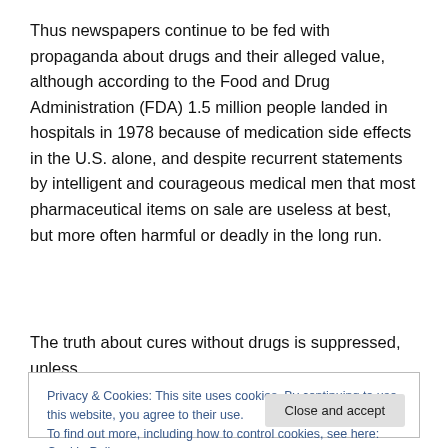Thus newspapers continue to be fed with propaganda about drugs and their alleged value, although according to the Food and Drug Administration (FDA) 1.5 million people landed in hospitals in 1978 because of medication side effects in the U.S. alone, and despite recurrent statements by intelligent and courageous medical men that most pharmaceutical items on sale are useless at best, but more often harmful or deadly in the long run.
The truth about cures without drugs is suppressed, unless
Privacy & Cookies: This site uses cookies. By continuing to use this website, you agree to their use.
To find out more, including how to control cookies, see here: Cookie Policy